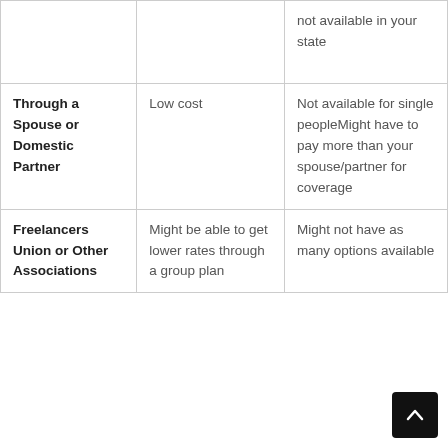|  |  | not available in your state |
| Through a Spouse or Domestic Partner | Low cost | Not available for single peopleMight have to pay more than your spouse/partner for coverage |
| Freelancers Union or Other Associations | Might be able to get lower rates through a group plan | Might not have as many options available |